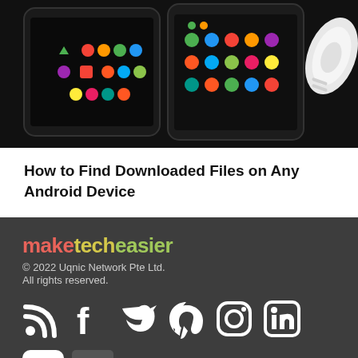[Figure (photo): Two Android smartphones on a dark background with colorful app icons visible, alongside a white wireless earbud case]
How to Find Downloaded Files on Any Android Device
maketecheasier
© 2022 Uqnic Network Pte Ltd.
All rights reserved.
[Figure (infographic): Social media icons row: RSS feed, Facebook, Twitter, Pinterest, Instagram, LinkedIn]
[Figure (infographic): Social media icons row 2: YouTube, Email/Envelope]